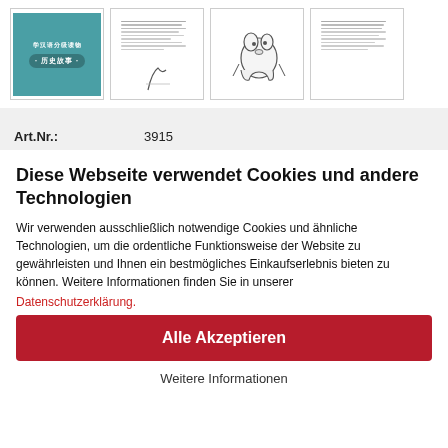[Figure (screenshot): Four book thumbnail previews showing a Chinese language reader book: cover with teal background and Chinese text (学汉语分级读物·历史故事), a text page with Chinese characters, a sketch illustration page, and another text page.]
| Art.Nr.: | 3915 |
| --- | --- |
Diese Webseite verwendet Cookies und andere Technologien
Wir verwenden ausschließlich notwendige Cookies und ähnliche Technologien, um die ordentliche Funktionsweise der Website zu gewährleisten und Ihnen ein bestmögliches Einkaufserlebnis bieten zu können. Weitere Informationen finden Sie in unserer Datenschutzerklärung.
Alle Akzeptieren
Weitere Informationen